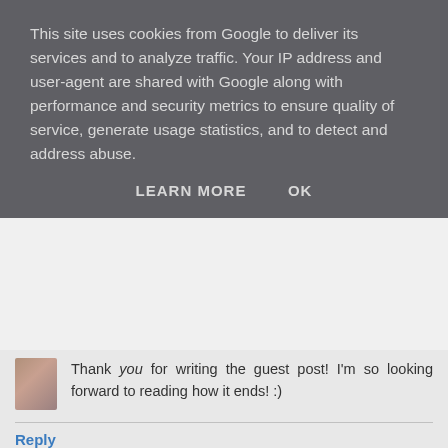This site uses cookies from Google to deliver its services and to analyze traffic. Your IP address and user-agent are shared with Google along with performance and security metrics to ensure quality of service, generate usage statistics, and to detect and address abuse.
LEARN MORE    OK
Thank you for writing the guest post! I'm so looking forward to reading how it ends! :)
Reply
Anonymous  18 May 2012 at 12:38
*Squee* it's only 11 days away now...and smack dab in the middle of my finals (actually, the day before my transport phenomena exam -erk!) *sigh*. Still will probably end up reading it though...
Reply